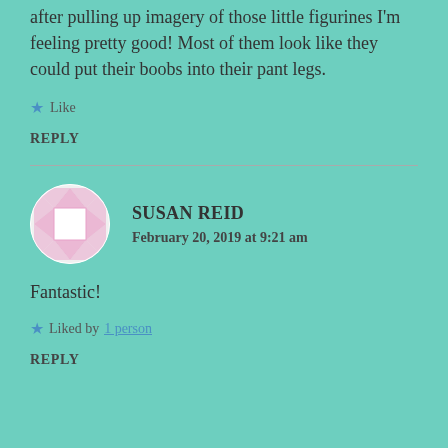after pulling up imagery of those little figurines I'm feeling pretty good! Most of them look like they could put their boobs into their pant legs.
★ Like
REPLY
[Figure (illustration): Circular avatar with a diamond/gem pattern in pink and white]
SUSAN REID
February 20, 2019 at 9:21 am
Fantastic!
★ Liked by 1 person
REPLY